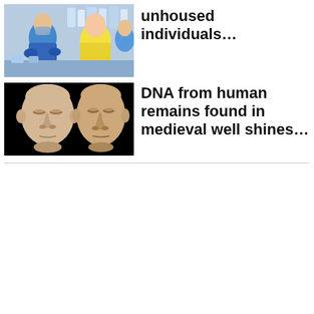[Figure (photo): Medical/lab scene with people in blue gloves, a person in a yellow shirt, lab equipment and bottles in background]
unhoused individuals…
[Figure (illustration): Two 3D rendered human head models (facial reconstructions) on black background — one rounder/younger face on left, one older/more angular face on right]
DNA from human remains found in medieval well shines…